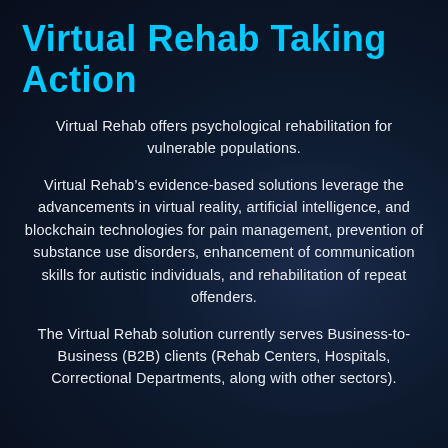Virtual Rehab Taking Action
Virtual Rehab offers psychological rehabilitation for vulnerable populations.
Virtual Rehab’s evidence-based solutions leverage the advancements in virtual reality, artificial intelligence, and blockchain technologies for pain management, prevention of substance use disorders, enhancement of communication skills for autistic individuals, and rehabilitation of repeat offenders.
The Virtual Rehab solution currently serves Business-to-Business (B2B) clients (Rehab Centers, Hospitals, Correctional Departments, along with other sectors).